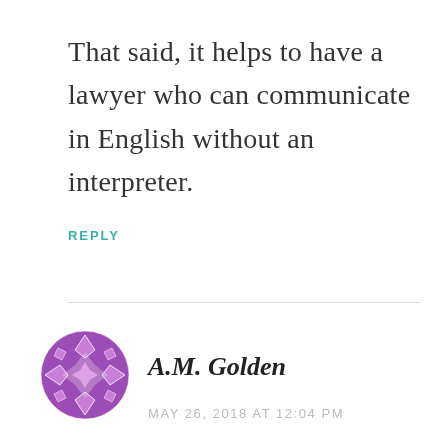That said, it helps to have a lawyer who can communicate in English without an interpreter.
REPLY
[Figure (illustration): Purple circular decorative avatar icon with geometric star/diamond pattern, used as commenter profile image]
A.M. Golden
MAY 26, 2018 AT 12:04 PM